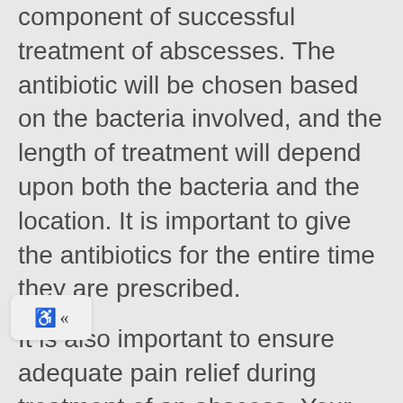component of successful treatment of abscesses. The antibiotic will be chosen based on the bacteria involved, and the length of treatment will depend upon both the bacteria and the location. It is important to give the antibiotics for the entire time they are prescribed.
It is also important to ensure adequate pain relief during treatment of an abscess. Your veterinarian will prescribe an appropriate pain medication to be given alongside the antibiotic.
Your veterinarian may talk with you about maintaining adequate nutrition to ensure good healing. This may involve a temporary dietary change. Finally, it will be important to restrict